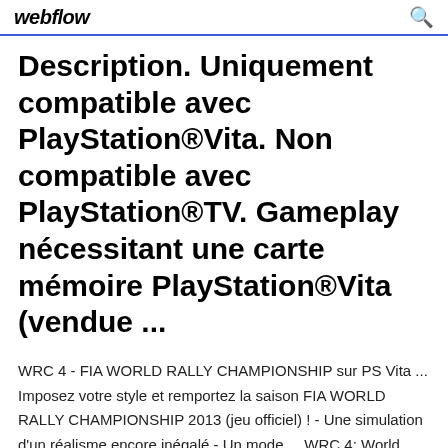webflow
Description. Uniquement compatible avec PlayStation®Vita. Non compatible avec PlayStation®TV. Gameplay nécessitant une carte mémoire PlayStation®Vita (vendue ...
WRC 4 - FIA WORLD RALLY CHAMPIONSHIP sur PS Vita ... Imposez votre style et remportez la saison FIA WORLD RALLY CHAMPIONSHIP 2013 (jeu officiel) ! - Une simulation d'un réalisme encore inégalé - Un mode ... WRC 4: World Rally Championship (Playstation Vita): Amazon ... New OFFICIAL License - WRC 4 is a licensed product, so you can choose your favourite